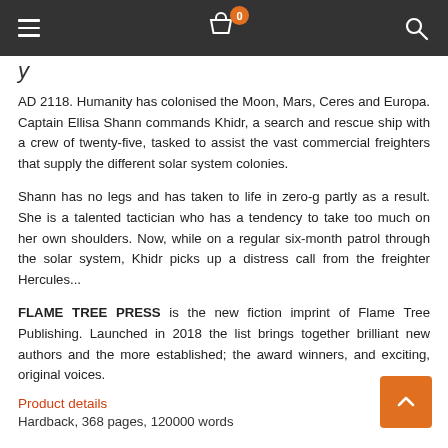Navigation bar with menu, cart (0), and search icons
y (partial title visible)
AD 2118. Humanity has colonised the Moon, Mars, Ceres and Europa. Captain Ellisa Shann commands Khidr, a search and rescue ship with a crew of twenty-five, tasked to assist the vast commercial freighters that supply the different solar system colonies.
Shann has no legs and has taken to life in zero-g partly as a result. She is a talented tactician who has a tendency to take too much on her own shoulders. Now, while on a regular six-month patrol through the solar system, Khidr picks up a distress call from the freighter Hercules...
FLAME TREE PRESS is the new fiction imprint of Flame Tree Publishing. Launched in 2018 the list brings together brilliant new authors and the more established; the award winners, and exciting, original voices.
Product details
Hardback, 368 pages, 120000 words